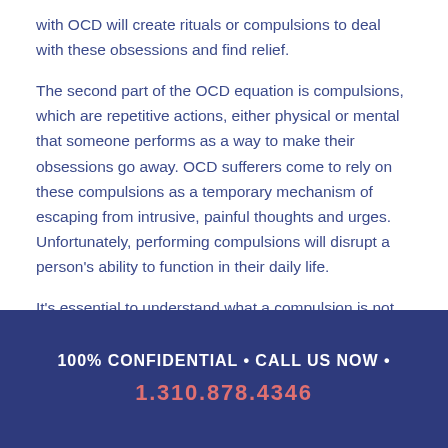with OCD will create rituals or compulsions to deal with these obsessions and find relief.
The second part of the OCD equation is compulsions, which are repetitive actions, either physical or mental that someone performs as a way to make their obsessions go away. OCD sufferers come to rely on these compulsions as a temporary mechanism of escaping from intrusive, painful thoughts and urges. Unfortunately, performing compulsions will disrupt a person's ability to function in their daily life.
It's essential to understand what a compulsion is not. Having a particular bedtime routine, schedule, or religious practice does not mean a person has OCD and is performing a
100% CONFIDENTIAL • CALL US NOW • 1.310.878.4346